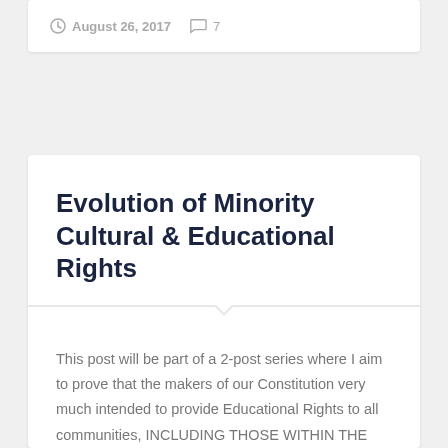August 26, 2017   7
Evolution of Minority Cultural & Educational Rights
This post will be part of a 2-post series where I aim to prove that the makers of our Constitution very much intended to provide Educational Rights to all communities, INCLUDING THOSE WITHIN THE HINDU RELIGION. The deduction of that intention will be made in the 2nd post of this series. However, in order to...
Continue Reading →